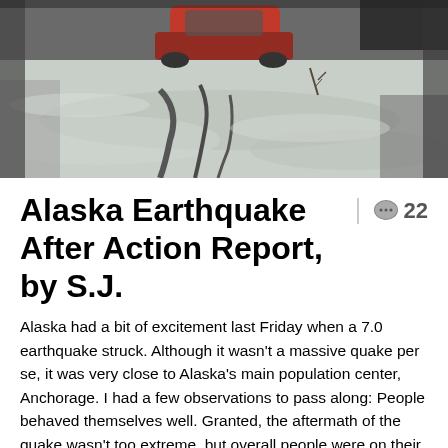[Figure (photo): Outdoor winter scene showing a snow-covered area with tire tracks or cracks in the snow/ice, a car visible in the upper portion, and what appears to be damaged ground or road surface after an earthquake.]
Alaska Earthquake After Action Report, by S.J.
Alaska had a bit of excitement last Friday when a 7.0 earthquake struck. Although it wasn't a massive quake per se, it was very close to Alaska's main population center, Anchorage. I had a few observations to pass along: People behaved themselves well. Granted, the aftermath of the quake wasn't too extreme, but overall people were on their best behavior. I think this shows that you can usually expect better than normal behavior from people in situations where the disaster is perceived as something that will be solved shortly. My preparations gave me great peace of mind, in addition to …